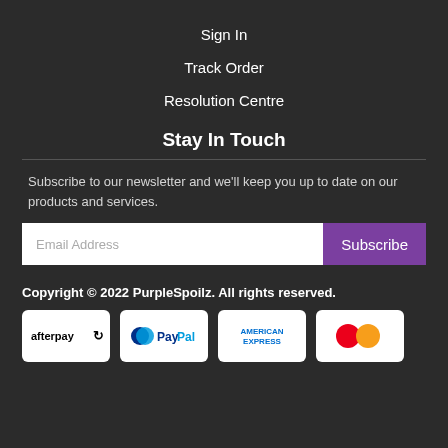Sign In
Track Order
Resolution Centre
Stay In Touch
Subscribe to our newsletter and we'll keep you up to date on our products and services.
Email Address
Subscribe
Copyright © 2022 PurpleSpoilz. All rights reserved.
[Figure (logo): Payment method logos: Afterpay, PayPal, American Express, MasterCard]